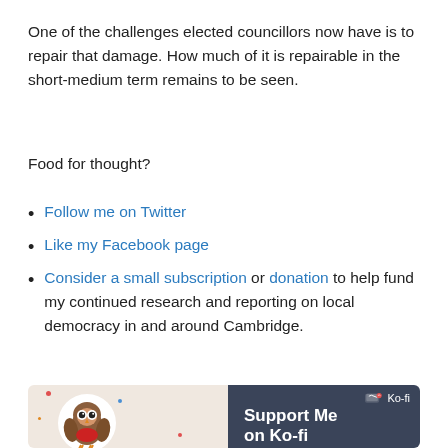One of the challenges elected councillors now have is to repair that damage. How much of it is repairable in the short-medium term remains to be seen.
Food for thought?
Follow me on Twitter
Like my Facebook page
Consider a small subscription or donation to help fund my continued research and reporting on local democracy in and around Cambridge.
[Figure (illustration): Ko-fi support banner with owl mascot on a light beige left side with confetti dots, and dark navy right side showing Ko-fi logo and 'Support Me on Ko-fi' text in white bold.]